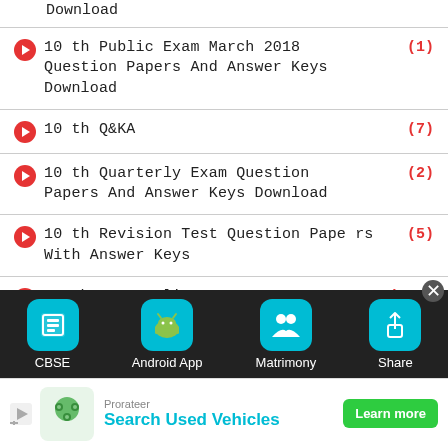Download
10th Public Exam March 2018 Question Papers And Answer Keys Download (1)
10th Q&KA (7)
10th Quarterly Exam Question Papers And Answer Keys Download (2)
10th Revision Test Question Papers With Answer Keys (5)
11th Free Online Test (139)
11th Half Yearly Exam Question Papers And Answer Keys Download (4)
11th Materials (28)
[Figure (screenshot): Bottom navigation bar with icons: CBSE, Android App, Matrimony, Share on dark background]
[Figure (screenshot): Ad banner: Prorateer Search Used Vehicles with Learn more button]